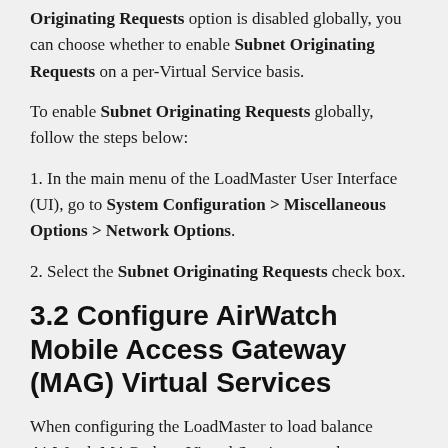Originating Requests option is disabled globally, you can choose whether to enable Subnet Originating Requests on a per-Virtual Service basis.
To enable Subnet Originating Requests globally, follow the steps below:
1. In the main menu of the LoadMaster User Interface (UI), go to System Configuration > Miscellaneous Options > Network Options.
2. Select the Subnet Originating Requests check box.
3.2 Configure AirWatch Mobile Access Gateway (MAG) Virtual Services
When configuring the LoadMaster to load balance AirWatch MAG, three Virtual Services must be set up.